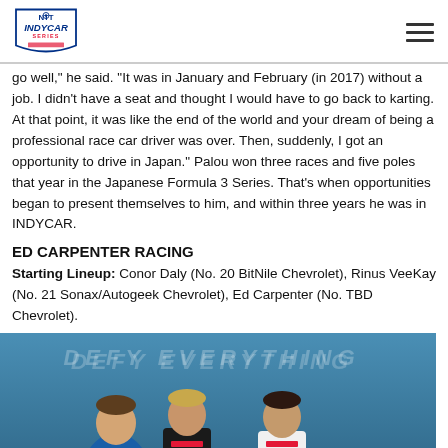NTT INDYCAR SERIES logo and navigation
go well," he said. "It was in January and February (in 2017) without a job. I didn't have a seat and thought I would have to go back to karting. At that point, it was like the end of the world and your dream of being a professional race car driver was over. Then, suddenly, I got an opportunity to drive in Japan." Palou won three races and five poles that year in the Japanese Formula 3 Series. That's when opportunities began to present themselves to him, and within three years he was in INDYCAR.
ED CARPENTER RACING
Starting Lineup: Conor Daly (No. 20 BitNile Chevrolet), Rinus VeeKay (No. 21 Sonax/Autogeek Chevrolet), Ed Carpenter (No. TBD Chevrolet).
[Figure (photo): Three IndyCar drivers in racing suits posed against a blue background with 'DEFY EVERYTHING' text. Left driver wears blue/white BitNile suit, center driver wears black/red suit, right driver wears white/red suit.]